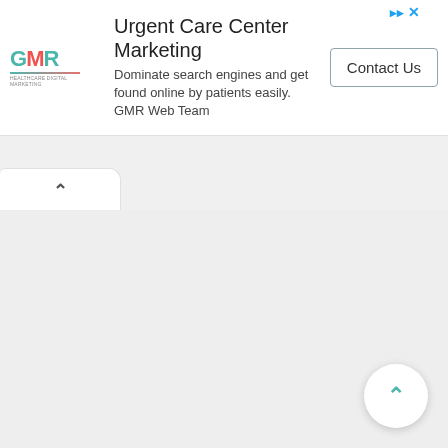[Figure (logo): GMR Web Team logo with teal and red lettering]
Urgent Care Center Marketing
Dominate search engines and get found online by patients easily. GMR Web Team
[Figure (other): Contact Us button with border]
[Figure (other): Browser tab with up chevron icon]
[Figure (other): Floating action button with up chevron in teal]